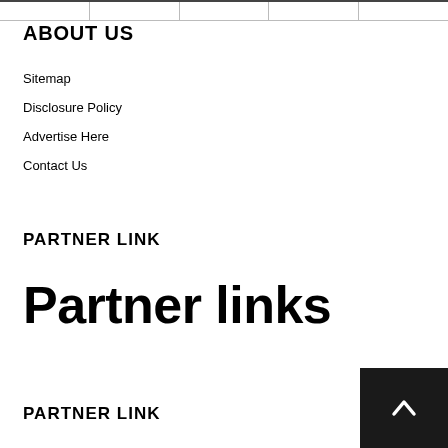[navigation tabs row]
ABOUT US
Sitemap
Disclosure Policy
Advertise Here
Contact Us
PARTNER LINK
Partner links
PARTNER LINK